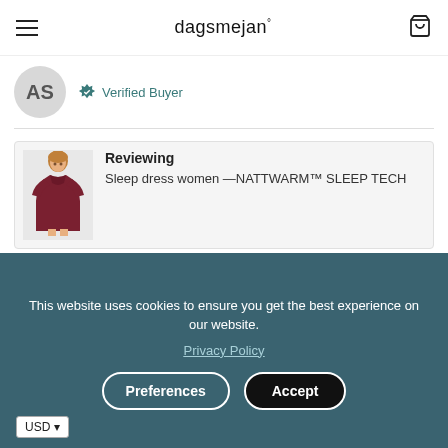dagsmejan°
[Figure (illustration): Avatar circle with initials AS]
Verified Buyer
[Figure (photo): Woman wearing a dark red sleep dress]
Reviewing
Sleep dress women —NATTWARM™ SLEEP TECH
👍 I recommend this product
My sleep type
I'm sometimes warm and sometimes cold
This website uses cookies to ensure you get the best experience on our website.
Privacy Policy
Preferences
Accept